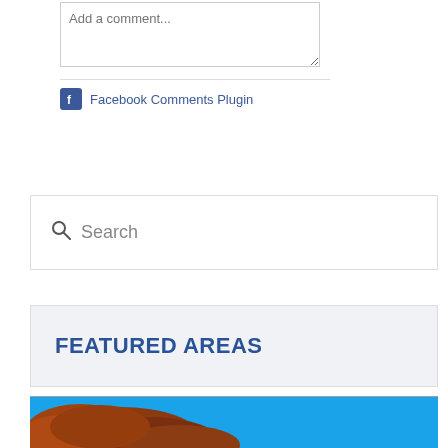Add a comment...
Facebook Comments Plugin
Search
FEATURED AREAS
[Figure (photo): Outdoor photo showing tree branches with autumn/red-orange foliage against a bright blue sky]